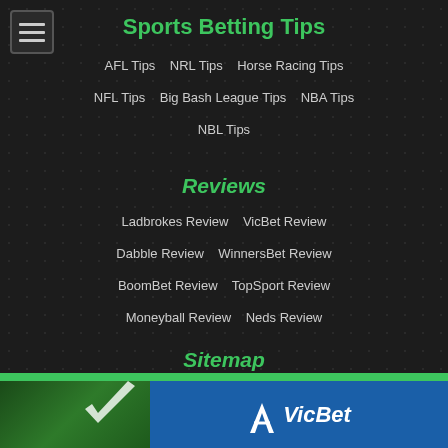Sports Betting Tips
AFL Tips   NRL Tips   Horse Racing Tips
NFL Tips   Big Bash League Tips   NBA Tips
NBL Tips
Reviews
Ladbrokes Review   VicBet Review
Dabble Review   WinnersBet Review
BoomBet Review   TopSport Review
Moneyball Review   Neds Review
Sitemap
About Us   Disclaimer   Responsible Gambling
[Figure (logo): VicBet advertisement banner with green and blue background showing VicBet logo with checkmark]